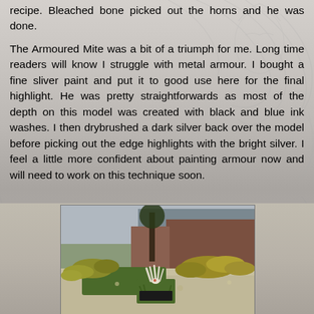recipe. Bleached bone picked out the horns and he was done.

The Armoured Mite was a bit of a triumph for me. Long time readers will know I struggle with metal armour. I bought a fine sliver paint and put it to good use here for the final highlight. He was pretty straightforwards as most of the depth on this model was created with black and blue ink washes. I then drybrushed a dark silver back over the model before picking out the edge highlights with the bright silver. I feel a little more confident about painting armour now and will need to work on this technique soon.
[Figure (photo): A painted tabletop wargaming miniature of a white creature (Armoured Mite) on a green base, set in a scenic diorama with model trees, yellow-green foliage/lichen, grass tufts, and a building in the background.]